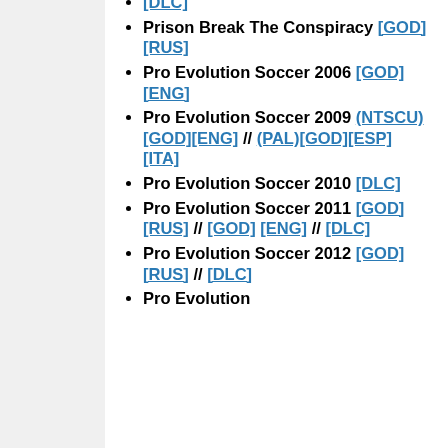[DLC]
Prison Break The Conspiracy [GOD] [RUS]
Pro Evolution Soccer 2006 [GOD] [ENG]
Pro Evolution Soccer 2009 (NTSCU)[GOD][ENG] // (PAL)[GOD][ESP][ITA]
Pro Evolution Soccer 2010 [DLC]
Pro Evolution Soccer 2011 [GOD][RUS] // [GOD][ENG] // [DLC]
Pro Evolution Soccer 2012 [GOD][RUS] // [DLC]
Pro Evolution